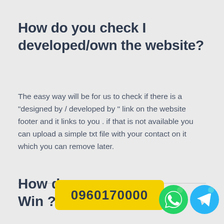How do you check I developed/own the website?
The easy way will be for us to check if there is a "designed by / developed by " link on the website footer and it links to you . if that is not available you can upload a simple txt file with your contact on it which you can remove later.
How do i get My Money i Win ?
[Figure (infographic): Yellow banner overlay showing phone number 0960170000 with WhatsApp and Telegram icons]